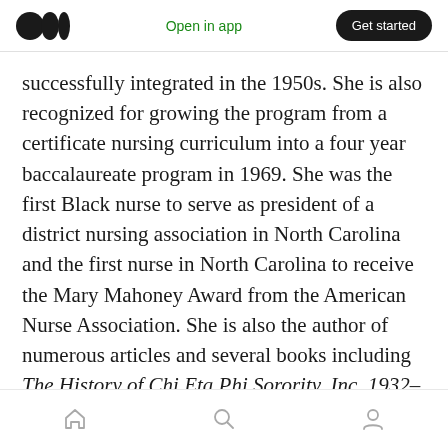Medium logo | Open in app | Get started
successfully integrated in the 1950s. She is also recognized for growing the program from a certificate nursing curriculum into a four year baccalaureate program in 1969. She was the first Black nurse to serve as president of a district nursing association in North Carolina and the first nurse in North Carolina to receive the Mary Mahoney Award from the American Nurse Association. She is also the author of numerous articles and several books including The History of Chi Eta Phi Sorority, Inc. 1932–1967 and Mary Eliza Mahoney 1845–1926- America's First Black
Home | Search | Profile